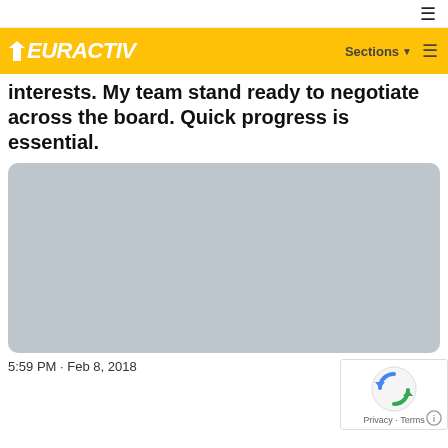≡
[Figure (logo): EURACTIV logo in white italic bold text on yellow background with Sections menu and hamburger icon]
interests. My team stand ready to negotiate across the board. Quick progress is essential.
[Figure (photo): Embedded social media image placeholder with light blue-grey background and rounded corners]
5:59 PM · Feb 8, 2018